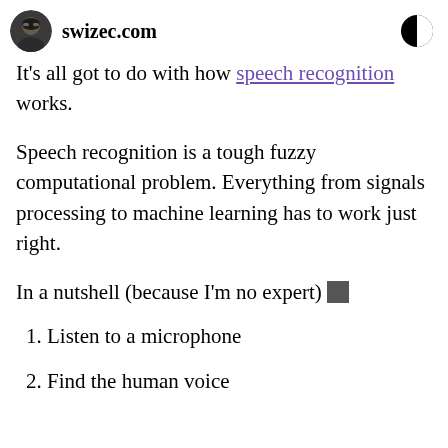swizec.com
It's all got to do with how speech recognition works.
Speech recognition is a tough fuzzy computational problem. Everything from signals processing to machine learning has to work just right.
In a nutshell (because I'm no expert) 🔲
1. Listen to a microphone
2. Find the human voice